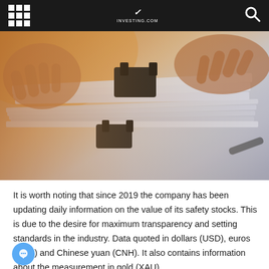[Figure (screenshot): Website navigation bar with grid menu icon on the left, a logo/website mark in the center, and a search icon on the right, all on a dark/black background.]
[Figure (photo): A person's hands holding and flipping through a large stack of papers or documents bound with black binder clips, warm office lighting in the background.]
It is worth noting that since 2019 the company has been updating daily information on the value of its safety stocks. This is due to the desire for maximum transparency and setting standards in the industry. Data quoted in dollars (USD), euros (EUR) and Chinese yuan (CNH). It also contains information about the measurement in gold (XAU).